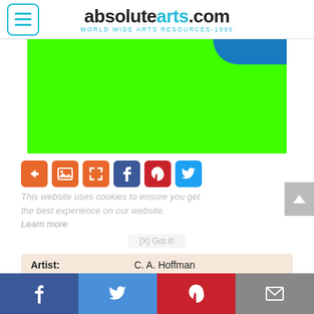absolutearts.com WORLD WIDE ARTS RESOURCES-1995
[Figure (photo): Artwork showing a largely bright green canvas with a blue patch in the upper right corner — appears to be an abstract painting titled 'Fit To Be Tied II' by C. A. Hoffman.]
[Figure (infographic): Row of social sharing icon buttons: back arrow (orange), image/thumbnail (orange), expand (orange), Facebook (blue), Pinterest (red), Twitter (light blue).]
This website uses cookies to ensure you get the best experience on our website. Learn more
| Field | Value |
| --- | --- |
| Artist: | C. A. Hoffman |
| Title: | Fit To Be Tied II |
Facebook | Twitter | Pinterest | Mail